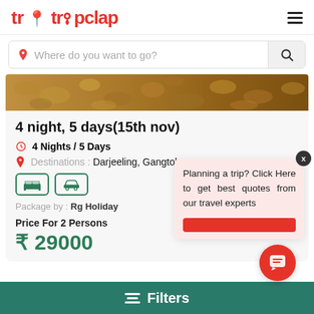tripclap
Where do you want to go?
[Figure (photo): Hero image showing rocky/earthy terrain with brown and orange tones]
4 night, 5 days(15th nov)
4 Nights / 5 Days
Destinations : Darjeeling, Gangtok
[Figure (illustration): Amenity icons: bed (hotel) and car]
Package by : Rg Holiday
Price For 2 Persons
₹ 29000
Planning a trip? Click Here to get best quotes from our travel experts
Filters